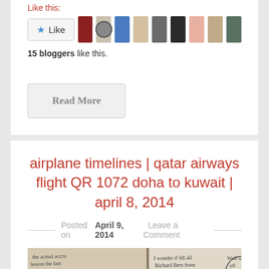Like this:
[Figure (other): Like button with star icon, followed by a row of 9 small avatar/profile thumbnails of bloggers]
15 bloggers like this.
Read More
airplane timelines | qatar airways flight QR 1072 doha to kuwait | april 8, 2014
Posted on April 9, 2014   Leave a Comment
[Figure (photo): Partial view of handwritten journal/notebook pages with cursive text visible]